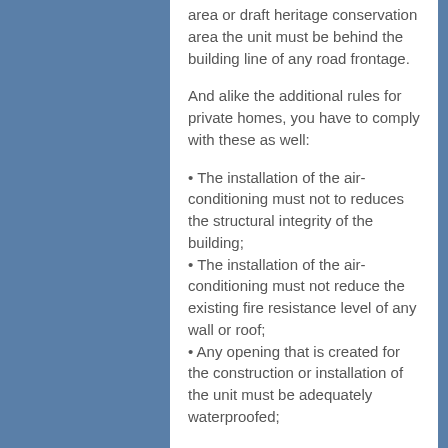area or draft heritage conservation area the unit must be behind the building line of any road frontage.
And alike the additional rules for private homes, you have to comply with these as well:
• The installation of the air-conditioning must not to reduces the structural integrity of the building;
• The installation of the air-conditioning must not reduce the existing fire resistance level of any wall or roof;
• Any opening that is created for the construction or installation of the unit must be adequately waterproofed;